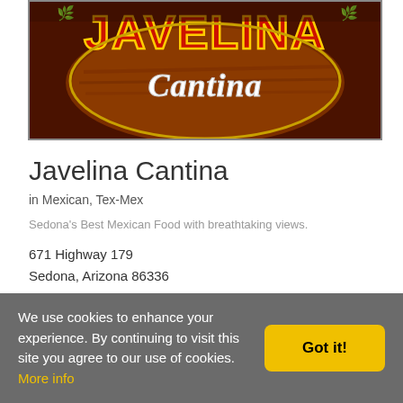[Figure (logo): Javelina Cantina restaurant logo — red and gold block letters 'JAVELINA' above white cursive 'Cantina' on a dark brown circular background with a wooden plank texture.]
Javelina Cantina
in Mexican, Tex-Mex
Sedona's Best Mexican Food with breathtaking views.
671 Highway 179
Sedona, Arizona 86336
Is this your listing?
We use cookies to enhance your experience. By continuing to visit this site you agree to our use of cookies. More info